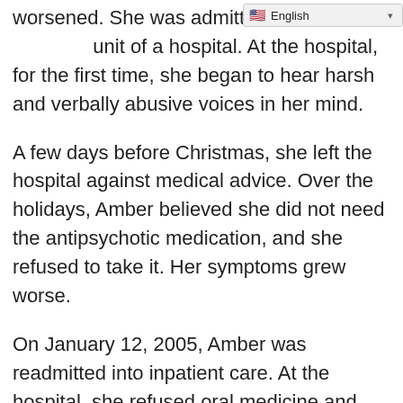worsened. She was admitted [to the inpatient] unit of a hospital. At the hospital, for the first time, she began to hear harsh and verbally abusive voices in her mind.
A few days before Christmas, she left the hospital against medical advice. Over the holidays, Amber believed she did not need the antipsychotic medication, and she refused to take it. Her symptoms grew worse.
On January 12, 2005, Amber was readmitted into inpatient care. At the hospital, she refused oral medicine and was given injections. The doctors experimented with several medicines over several weeks, but none of them kept her hallucinations and delusions away.